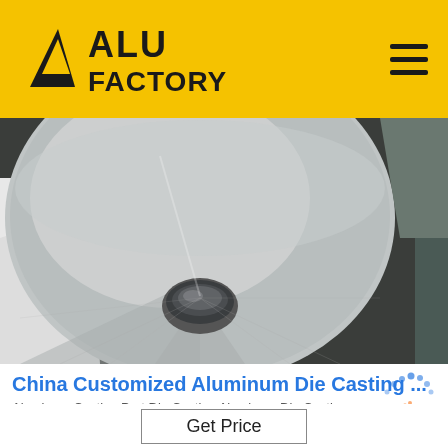ALU FACTORY
[Figure (photo): Close-up photo of a large aluminum die casting part — a flat circular disc with a central conical bore/hole, showing machined aluminum surface with metallic sheen, wrapped partially in white packaging material, with a dark background.]
China Customized Aluminum Die Casting ...
Aluminum Casting Part Die Casting Aluminum Die Casting
[Figure (logo): TOP badge — circular dots arranged in an arc above the text 'TOP' in blue letters with orange dots decoration]
Get Price